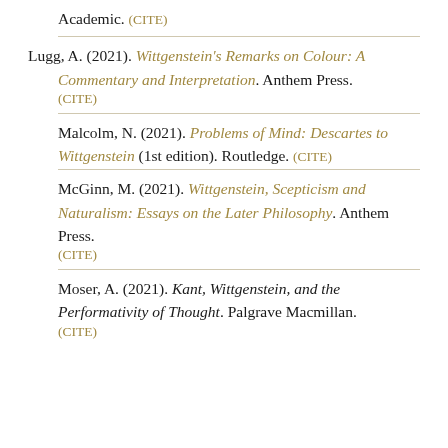Academic. (CITE)
Lugg, A. (2021). Wittgenstein's Remarks on Colour: A Commentary and Interpretation. Anthem Press. (CITE)
Malcolm, N. (2021). Problems of Mind: Descartes to Wittgenstein (1st edition). Routledge. (CITE)
McGinn, M. (2021). Wittgenstein, Scepticism and Naturalism: Essays on the Later Philosophy. Anthem Press. (CITE)
Moser, A. (2021). Kant, Wittgenstein, and the Performativity of Thought. Palgrave Macmillan. (CITE)